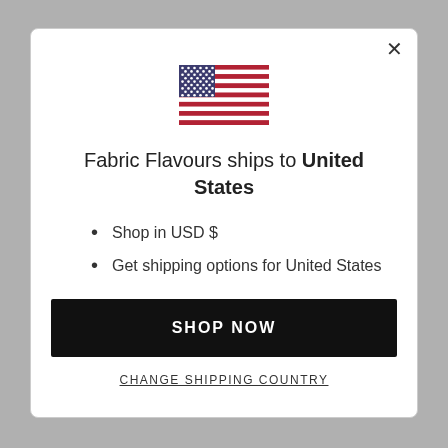[Figure (illustration): US flag SVG illustration centered in modal]
Fabric Flavours ships to United States
Shop in USD $
Get shipping options for United States
SHOP NOW
CHANGE SHIPPING COUNTRY